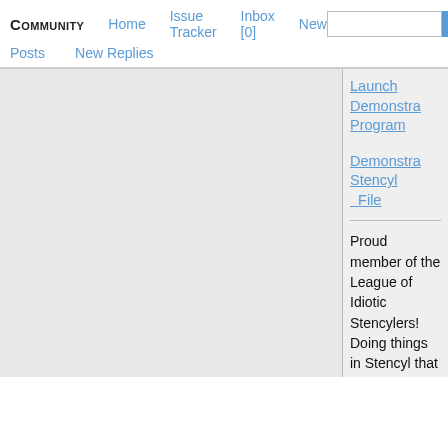COMMUNITY   Home   Issue Tracker   Inbox [0]   New   Posts   New Replies   Search
Launch Demonstra Program
Demonstra Stencyl File
Proud member of the League of Idiotic Stencylers! Doing things in Stencyl that probably should...